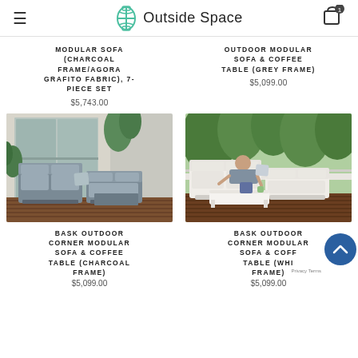Outside Space
MODULAR SOFA (CHARCOAL FRAME/AGORA GRAFITO FABRIC), 7-PIECE SET
$5,743.00
OUTDOOR MODULAR SOFA & COFFEE TABLE (GREY FRAME)
$5,099.00
[Figure (photo): Outdoor modular sofa with charcoal frame and grey cushions on a deck]
[Figure (photo): Man sitting on outdoor corner modular sofa with white frame and light cushions on a deck]
BASK OUTDOOR CORNER MODULAR SOFA & COFFEE TABLE (CHARCOAL FRAME)
$5,099.00
BASK OUTDOOR CORNER MODULAR SOFA & COFFEE TABLE (WHITE FRAME)
$5,099.00